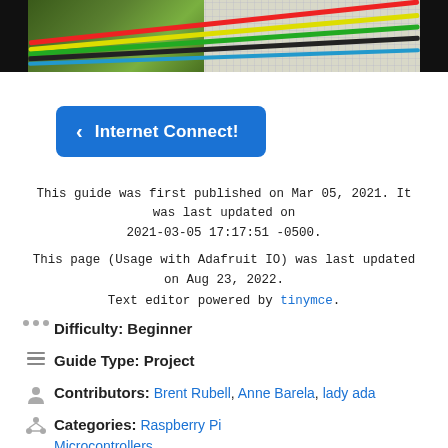[Figure (photo): Photo of a Raspberry Pi or microcontroller board connected to a breadboard with colorful wires (red, yellow, green, black, blue).]
< Internet Connect!
This guide was first published on Mar 05, 2021. It was last updated on 2021-03-05 17:17:51 -0500.
This page (Usage with Adafruit IO) was last updated on Aug 23, 2022.
Text editor powered by tinymce.
Difficulty: Beginner
Guide Type: Project
Contributors: Brent Rubell, Anne Barela, lady ada
Categories: Raspberry Pi Microcontrollers CircuitPython Internet of Things - IOT